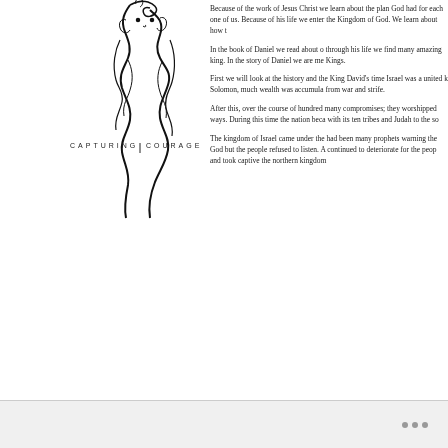[Figure (logo): Capturing Courage logo: stylized lion face with text 'CAPTURING COURAGE' below]
Because of the work of Jesus Christ we learn about the plan God had for each one of us. Because of his life we enter the Kingdom of God. We learn about how to live as his people.
In the book of Daniel we read about one man's life and through his life we find many amazing encounters with a pagan king. In the story of Daniel we arement to see the King of Kings.
First we will look at the history and the background. During King David's time Israel was a united kingdom. With King Solomon, much wealth was accumulated though it was not free from war and strife.
After this, over the course of hundreds of years Israel made many compromises; they worshipped other gods, adopted pagan ways. During this time the nation became divided, Israel to north with its ten tribes and Judah to the south.
The kingdom of Israel came under the judgment of God. There had been many prophets warning the people to return back to God but the people refused to listen. And so the situation continued to deteriorate for the people. The Assyrian came and took captive the northern kingdom.
• • •